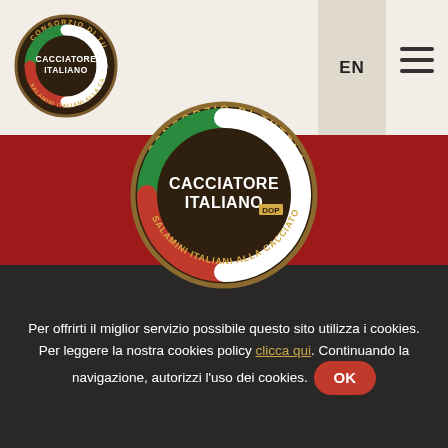[Figure (logo): Cacciatore Italiano DOP consortium small logo in header, circular badge with black background, Italian flag C, gold text]
EN
[Figure (logo): Cacciatore Italiano DOP consortium large logo centered over red banner, circular badge]
Per offrirti il miglior servizio possibile questo sito utilizza i cookies. Per leggere la nostra cookies policy clicca qui. Continuando la navigazione, autorizzi l'uso dei cookies. OK